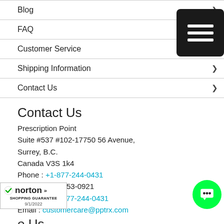Blog ›
FAQ ›
Customer Service ›
Shipping Information ›
Contact Us ›
[Figure (other): Black menu/hamburger icon button with three white horizontal lines]
Contact Us
Prescription Point
Suite #537 #102-17750 56 Avenue,
Surrey, B.C.
Canada V3S 1k4
Phone : +1-877-244-0431
Fax : +1-877-453-0921
Helpline : +1-877-244-0431
Email : customercare@pptrx.com
[Figure (logo): Norton Shopping Guarantee badge with checkmark, dated 9/1/2022]
[Figure (other): Green circular chat button icon]
e Us